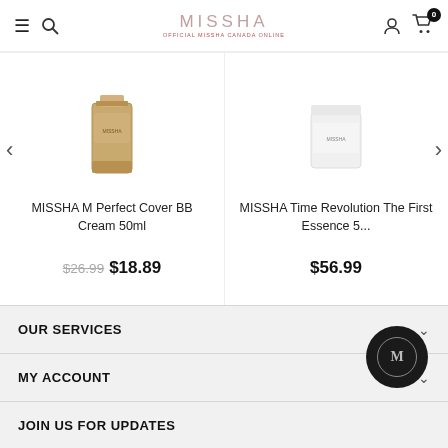MISSHA — Official Missha Canada Online
MISSHA M Perfect Cover BB Cream 50ml
$26.99 $18.89
MISSHA Time Revolution The First Essence 5...
$56.99
OUR SERVICES
MY ACCOUNT
JOIN US FOR UPDATES